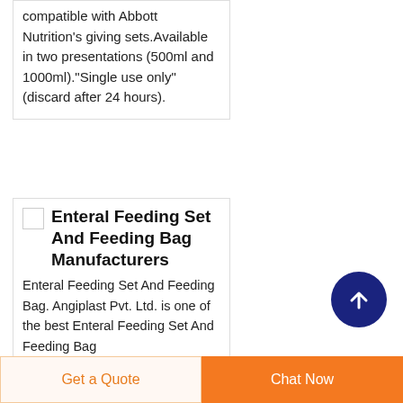compatible with Abbott Nutrition's giving sets.Available in two presentations (500ml and 1000ml)."Single use only" (discard after 24 hours).
Enteral Feeding Set And Feeding Bag Manufacturers
Enteral Feeding Set And Feeding Bag. Angiplast Pvt. Ltd. is one of the best Enteral Feeding Set And Feeding Bag
[Figure (other): Scroll-to-top button: dark navy blue circle with white upward arrow]
Get a Quote
Chat Now